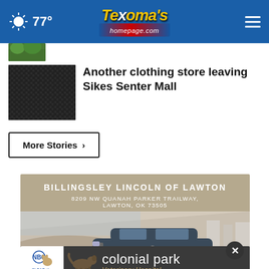Texoma's homepage.com — 77°
[Figure (screenshot): Partial thumbnail of a news story (green foliage visible), cut off at top]
[Figure (screenshot): Thumbnail image showing dark mesh/fabric texture for the clothing store story]
Another clothing store leaving Sikes Senter Mall
More Stories ›
[Figure (photo): Advertisement for Billingsley Lincoln of Lawton. Text reads: BILLINGSLEY LINCOLN OF LAWTON, 8209 NW QUANAH PARKER TRAILWAY, LAWTON, OK 73505, WWW.BILLINGSLEYLINCOLNOFLAWTON.COM. Shows a Lincoln SUV on a scenic road.]
[Figure (photo): Advertisement for Colonial Park Veterinary Hospital with Clear the Shelters branding and a puppy image.]